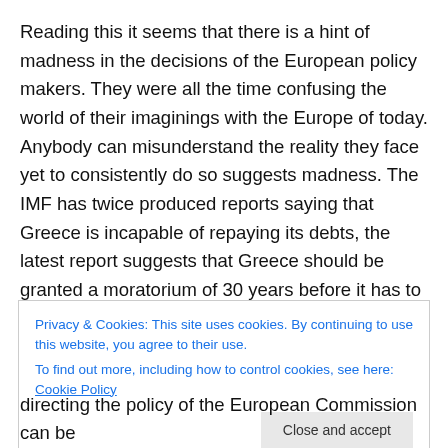Reading this it seems that there is a hint of madness in the decisions of the European policy makers. They were all the time confusing the world of their imaginings with the Europe of today. Anybody can misunderstand the reality they face yet to consistently do so suggests madness. The IMF has twice produced reports saying that Greece is incapable of repaying its debts, the latest report suggests that Greece should be granted a moratorium of 30 years before it has to repay any of it debts. Yet despite the evidence from the Greek economy demonstrating that the
Privacy & Cookies: This site uses cookies. By continuing to use this website, you agree to their use.
To find out more, including how to control cookies, see here: Cookie Policy
Close and accept
directing the policy of the European Commission can be